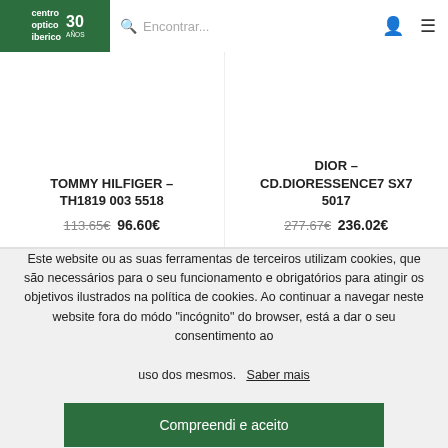centro optico iberico 30 años | Encontrar... | [person icon] | [menu icon]
TOMMY HILFIGER – TH1819 003 5518
113.65€ 96.60€
DIOR – CD.DIORESSENCE7 SX7 5017
277.67€ 236.02€
Este website ou as suas ferramentas de terceiros utilizam cookies, que são necessários para o seu funcionamento e obrigatórios para atingir os objetivos ilustrados na política de cookies. Ao continuar a navegar neste website fora do módo "incógnito" do browser, está a dar o seu consentimento ao uso dos mesmos. Saber mais
Compreendi e aceito